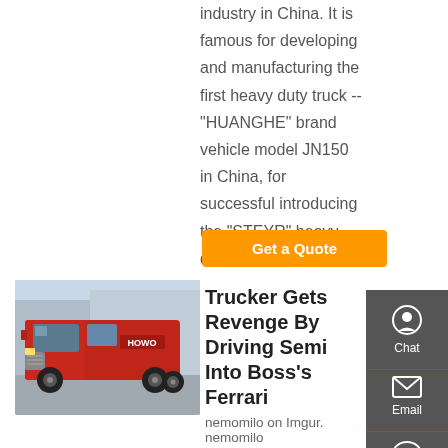industry in China. It is famous for developing and manufacturing the first heavy duty truck -- "HUANGHE" brand vehicle model JN150 in China, for successful introducing the "STEYR" heavy duty truck....
Get a Quote
[Figure (photo): Red HOWO heavy duty truck cab parked in a lot]
Trucker Gets Revenge By Driving Semi Into Boss's Ferrari
nemomilo on Imgur. nemomilo